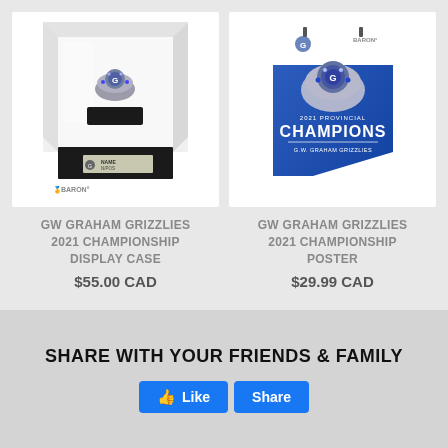[Figure (photo): Championship ring in a display case on a black pedestal with NAME/POS plaque and Baron logo]
GW GRAHAM GRIZZLIES 2021 CHAMPIONSHIP DISPLAY CASE
$55.00 CAD
[Figure (photo): Championship ring on a blue promotional poster reading 2021 PROVINCIAL CHAMPIONS G.W. Graham Grizzlies with Baron logo]
GW GRAHAM GRIZZLIES 2021 CHAMPIONSHIP POSTER
$29.99 CAD
SHARE WITH YOUR FRIENDS & FAMILY